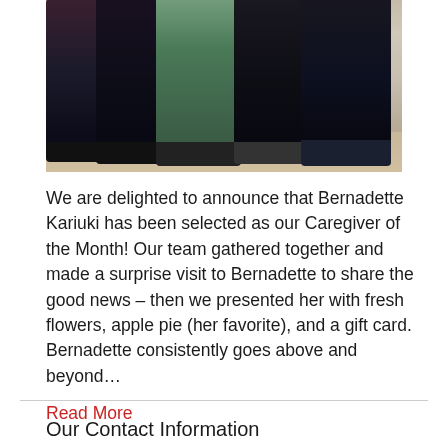[Figure (photo): Group photo of several people standing together indoors, showing their lower bodies from approximately waist down. People are wearing various outfits including black pants, green pants, and dark clothing. They are standing on a carpet in what appears to be a living room or home setting.]
We are delighted to announce that Bernadette Kariuki has been selected as our Caregiver of the Month! Our team gathered together and made a surprise visit to Bernadette to share the good news – then we presented her with fresh flowers, apple pie (her favorite), and a gift card. Bernadette consistently goes above and beyond…
Read More
Our Contact Information